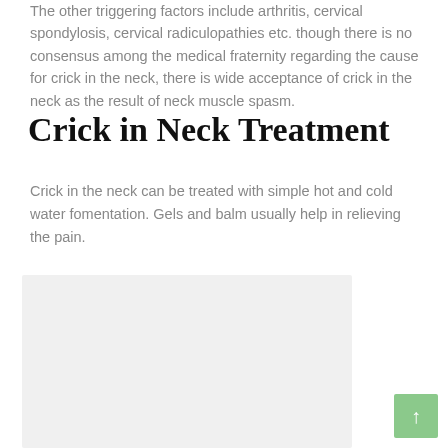The other triggering factors include arthritis, cervical spondylosis, cervical radiculopathies etc. though there is no consensus among the medical fraternity regarding the cause for crick in the neck, there is wide acceptance of crick in the neck as the result of neck muscle spasm.
Crick in Neck Treatment
Crick in the neck can be treated with simple hot and cold water fomentation. Gels and balm usually help in relieving the pain.
[Figure (photo): A light gray placeholder image box representing a photograph related to crick in neck treatment.]